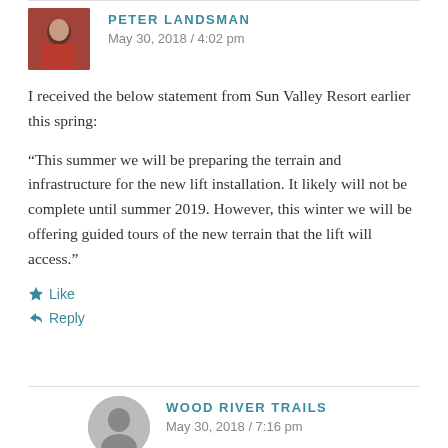PETER LANDSMAN
May 30, 2018 / 4:02 pm
I received the below statement from Sun Valley Resort earlier this spring:
“This summer we will be preparing the terrain and infrastructure for the new lift installation. It likely will not be complete until summer 2019. However, this winter we will be offering guided tours of the new terrain that the lift will access.”
Like
Reply
WOOD RIVER TRAILS
May 30, 2018 / 7:16 pm